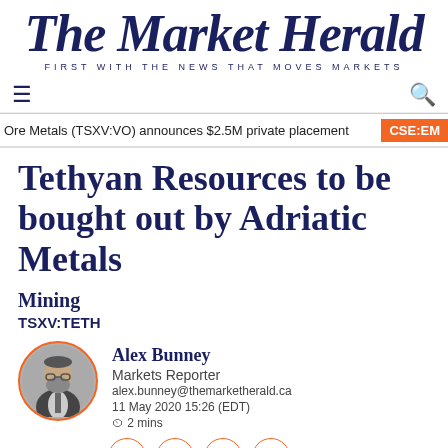The Market Herald
FIRST WITH THE NEWS THAT MOVES MARKETS
Ore Metals (TSXV:VO) announces $2.5M private placement   CSE:EM
Tethyan Resources to be bought out by Adriatic Metals
Mining
TSXV:TETH
Alex Bunney
Markets Reporter
alex.bunney@themarketherald.ca
11 May 2020 15:26 (EDT)
⏱ 2 mins